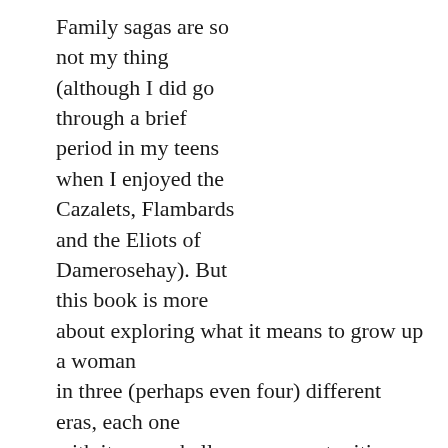Family sagas are so not my thing (although I did go through a brief period in my teens when I enjoyed the Cazalets, Flambards and the Eliots of Damerosehay). But this book is more about exploring what it means to grow up a woman in three (perhaps even four) different eras, each one with its own challenges, opportunities and limitations. Joyce grows up in the early 1950s and wants to break free of the constraints of the housewifely existence she sees in her mother's and aunt's generation. Art school seems to be her way out of suburbia, but then she marries her art teacher and has children. Very soon, she learns to